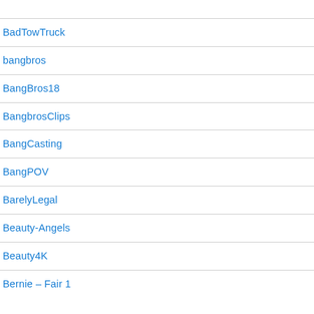BadTowTruck
bangbros
BangBros18
BangbrosClips
BangCasting
BangPOV
BarelyLegal
Beauty-Angels
Beauty4K
Bernie – Fair 1